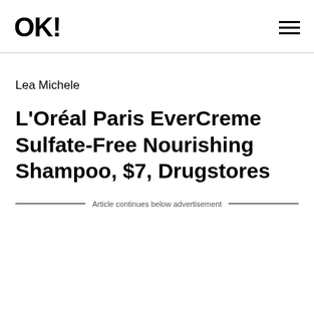OK!
Lea Michele
L'Oréal Paris EverCreme Sulfate-Free Nourishing Shampoo, $7, Drugstores
Article continues below advertisement